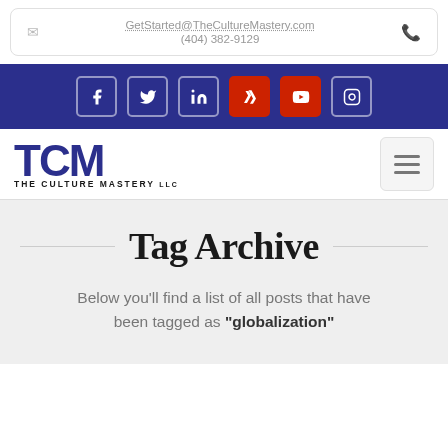GetStarted@TheCultureMastery.com (404) 382-9129
[Figure (infographic): Social media icons bar: Facebook, Twitter, LinkedIn, Xing, YouTube, Instagram on dark blue background]
[Figure (logo): TCM The Culture Mastery LLC logo with hamburger menu button]
Tag Archive
Below you'll find a list of all posts that have been tagged as "globalization"